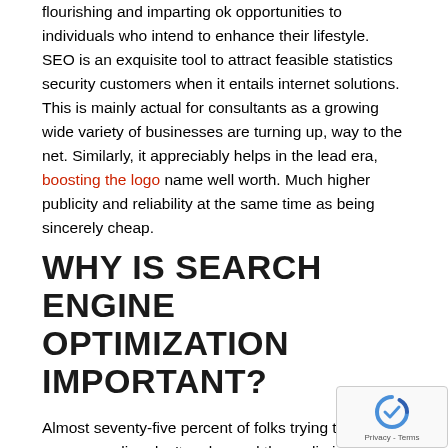flourishing and imparting ok opportunities to individuals who intend to enhance their lifestyle. SEO is an exquisite tool to attract feasible statistics security customers when it entails internet solutions. This is mainly actual for consultants as a growing wide variety of businesses are turning up, way to the net. Similarly, it appreciably helps in the lead era, boosting the logo name well worth. Much higher publicity and reliability at the same time as being sincerely cheap.
WHY IS SEARCH ENGINE OPTIMIZATION IMPORTANT?
Almost seventy-five percent of folks trying to find answers online don't go beyond the preliminary net